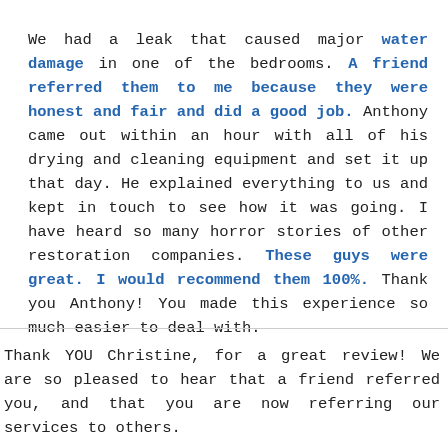We had a leak that caused major water damage in one of the bedrooms. A friend referred them to me because they were honest and fair and did a good job. Anthony came out within an hour with all of his drying and cleaning equipment and set it up that day. He explained everything to us and kept in touch to see how it was going. I have heard so many horror stories of other restoration companies. These guys were great. I would recommend them 100%. Thank you Anthony! You made this experience so much easier to deal with.
Thank YOU Christine, for a great review! We are so pleased to hear that a friend referred you, and that you are now referring our services to others.